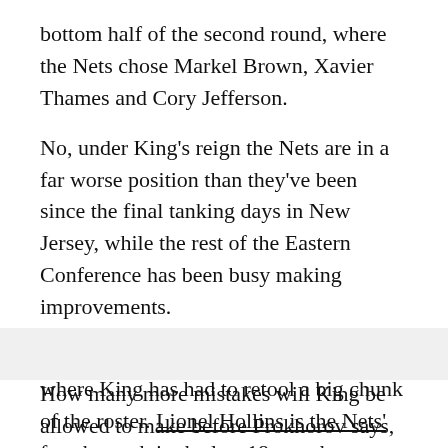bottom half of the second round, where the Nets chose Markel Brown, Xavier Thames and Cory Jefferson.
No, under King's reign the Nets are in a far worse position than they've been since the final tanking days in New Jersey, while the rest of the Eastern Conference has been busy making improvements.
This will be the third straight season where King has had to retool a big chunk of the roster. Lionel Hollins is the Nets' fourth coach in the last 18 months.
How many more mistakes will King be allowed to make before Prokhorov says, "Nyet!"